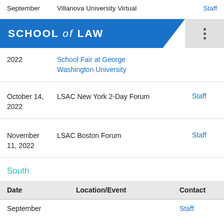September ... | Villanova University Virtual ... | Staff
[Figure (logo): School of Law blue banner logo with menu dots]
2022 | School Fair at George Washington University
October 14, 2022 | LSAC New York 2-Day Forum | Staff
November 11, 2022 | LSAC Boston Forum | Staff
South
| Date | Location/Event | Contact |
| --- | --- | --- |
| September ... | LSAC ... | Staff |